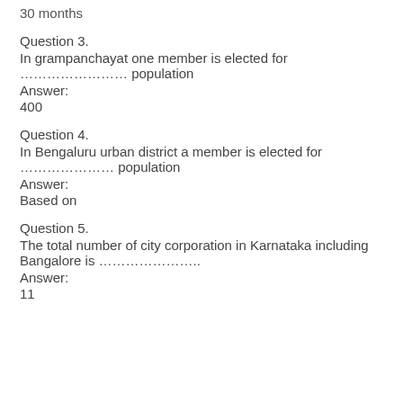30 months
Question 3.
In grampanchayat one member is elected for ………………… population
Answer:
400
Question 4.
In Bengaluru urban district a member is elected for ………………… population
Answer:
Based on
Question 5.
The total number of city corporation in Karnataka including Bangalore is ………………….
Answer:
11